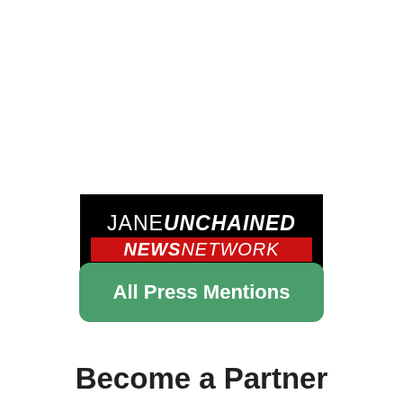[Figure (logo): JaneUnchained News Network logo — black background with white italic text 'JANE UNCHAINED' on top, red banner with white bold italic 'NEWS NETWORK' in middle, and gray tagline 'VIDEOS FOR THE VOICELESS' below]
All Press Mentions
Become a Partner